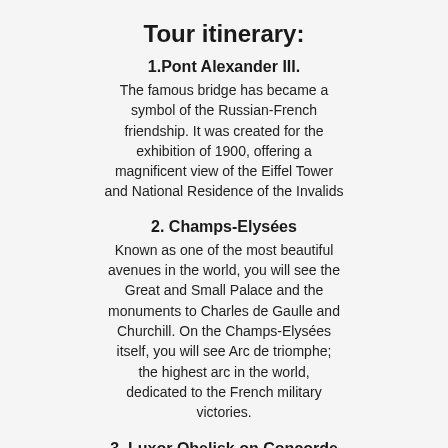Tour itinerary:
1.Pont Alexander III. The famous bridge has became a symbol of the Russian-French friendship. It was created for the exhibition of 1900, offering a magnificent view of the Eiffel Tower and National Residence of the Invalids
2. Champs-Elysées Known as one of the most beautiful avenues in the world, you will see the Great and Small Palace and the monuments to Charles de Gaulle and Churchill. On the Champs-Elysées itself, you will see Arc de triomphe; the highest arc in the world, dedicated to the French military victories.
3. Luxor Obelisk on Concorde